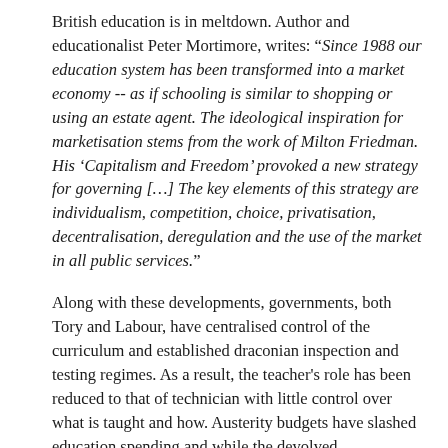British education is in meltdown. Author and educationalist Peter Mortimore, writes: “Since 1988 our education system has been transformed into a market economy -- as if schooling is similar to shopping or using an estate agent. The ideological inspiration for marketisation stems from the work of Milton Friedman. His ‘Capitalism and Freedom’ provoked a new strategy for governing […] The key elements of this strategy are individualism, competition, choice, privatisation, decentralisation, deregulation and the use of the market in all public services.”
Along with these developments, governments, both Tory and Labour, have centralised control of the curriculum and established draconian inspection and testing regimes. As a result, the teacher's role has been reduced to that of technician with little control over what is taught and how. Austerity budgets have slashed education spending and while the devolved governments of Wales and Scotland have been able to resist some of these developments and retain a degree of local accountability (and Scottish higher education students do not pay